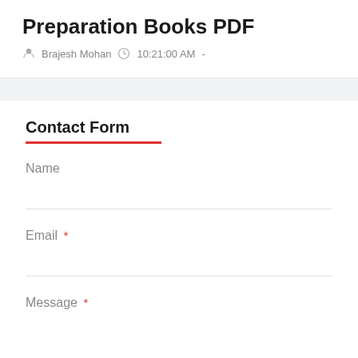Preparation Books PDF
Brajesh Mohan  10:21:00 AM  -
Contact Form
Name
Email *
Message *
Send